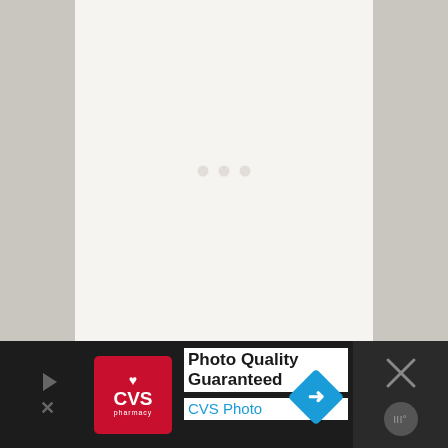[Figure (other): Loading screen with three faint dots centered on a light beige/cream background, flanked by gray side margins. Below is an advertisement bar for CVS Photo with the text 'Photo Quality Guaranteed' and 'CVS Photo', along with the CVS pharmacy logo and navigation/close icons.]
Photo Quality Guaranteed
CVS Photo